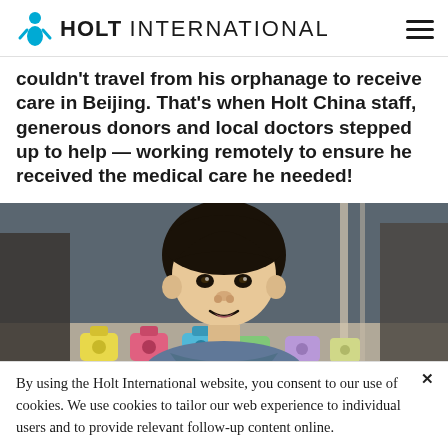HOLT INTERNATIONAL
couldn't travel from his orphanage to receive care in Beijing. That's when Holt China staff, generous donors and local doctors stepped up to help — working remotely to ensure he received the medical care he needed!
[Figure (photo): Young Asian boy (toddler) smiling slightly, surrounded by colorful toy cameras on a shelf behind him]
By using the Holt International website, you consent to our use of cookies. We use cookies to tailor our web experience to individual users and to provide relevant follow-up content online.